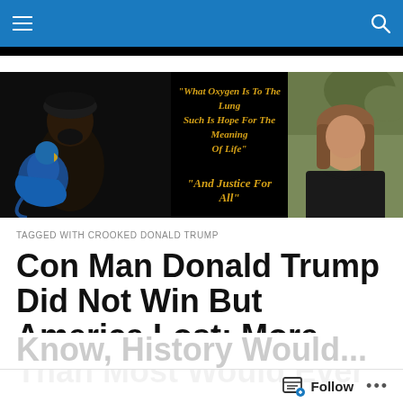Navigation bar with menu and search icons
[Figure (illustration): Website banner with black background, a man wearing a turban with a blue parrot, quote text in gold italic: "What Oxygen Is To The Lung Such Is Hope For The Meaning Of Life" and "And Justice For All", and a photo of a woman on the right side.]
TAGGED WITH CROOKED DONALD TRUMP
Con Man Donald Trump Did Not Win But America Lost; More Than Most Would Ever Know, History Would...